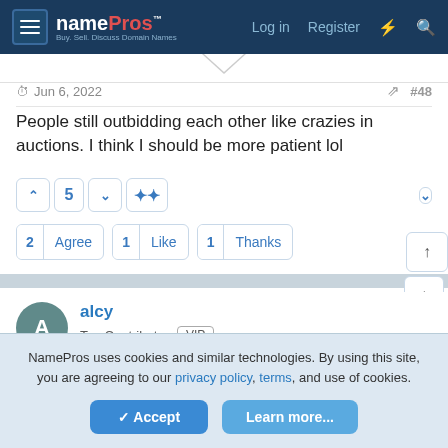namePros - Log in - Register
Jun 6, 2022  #48
People still outbidding each other like crazies in auctions. I think I should be more patient lol
2 Agree  1 Like  1 Thanks
alcy
Top Contributor  VIP
NamePros uses cookies and similar technologies. By using this site, you are agreeing to our privacy policy, terms, and use of cookies.